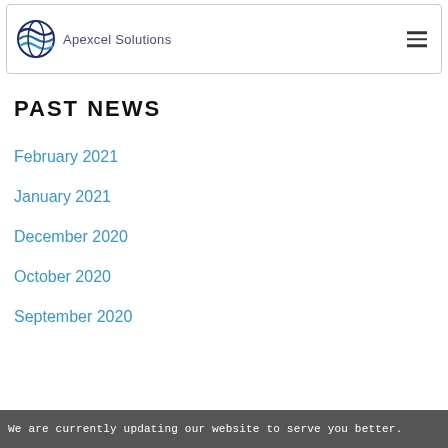Apexcel Solutions
PAST NEWS
February 2021
January 2021
December 2020
October 2020
September 2020
We are currently updating our website to serve you better.